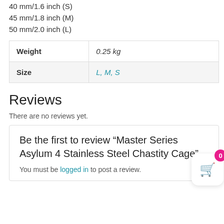40 mm/1.6 inch (S)
45 mm/1.8 inch (M)
50 mm/2.0 inch (L)
|  |  |
| --- | --- |
| Weight | 0.25 kg |
| Size | L, M, S |
Reviews
There are no reviews yet.
Be the first to review “Master Series Asylum 4 Stainless Steel Chastity Cage”
You must be logged in to post a review.